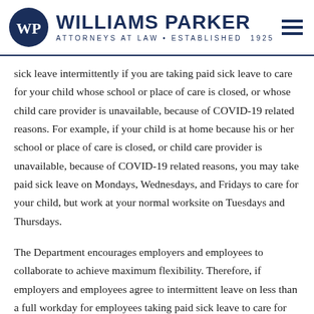[Figure (logo): Williams Parker Attorneys at Law logo with circular WP monogram and navy text, Established 1925]
sick leave intermittently if you are taking paid sick leave to care for your child whose school or place of care is closed, or whose child care provider is unavailable, because of COVID-19 related reasons. For example, if your child is at home because his or her school or place of care is closed, or child care provider is unavailable, because of COVID-19 related reasons, you may take paid sick leave on Mondays, Wednesdays, and Fridays to care for your child, but work at your normal worksite on Tuesdays and Thursdays.
The Department encourages employers and employees to collaborate to achieve maximum flexibility. Therefore, if employers and employees agree to intermittent leave on less than a full workday for employees taking paid sick leave to care for their child whose school or place of care is closed, or child